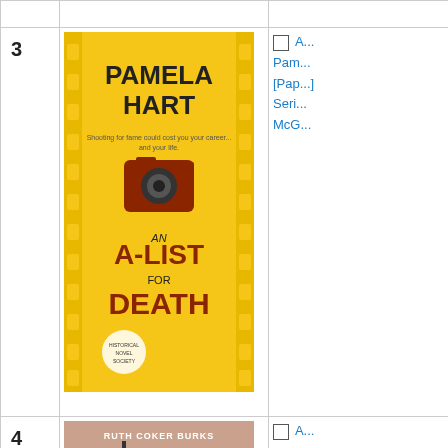|  | # | Cover | Info |
| --- | --- | --- | --- |
|  |  |  |  |
|  | 3 | [Book cover: An A-List for Death by Pamela Hart] | A...
Pam...
[Pap...]
Seri...
McG... |
|  | 4 | [Book cover: All the Young Men by Ruth Coker Burks] | A...
mem...
and...
Ame...
Ruth...
Kev...
[Pap... |